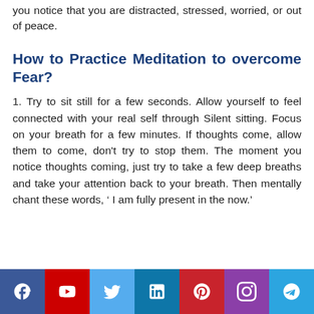you notice that you are distracted, stressed, worried, or out of peace.
How to Practice Meditation to overcome Fear?
1. Try to sit still for a few seconds. Allow yourself to feel connected with your real self through Silent sitting. Focus on your breath for a few minutes. If thoughts come, allow them to come, don't try to stop them. The moment you notice thoughts coming, just try to take a few deep breaths and take your attention back to your breath. Then mentally chant these words, ‘ I am fully present in the now.’
[Figure (infographic): Social media share buttons: Facebook (blue), YouTube (red), Twitter (light blue), LinkedIn (dark blue), Pinterest (red), Instagram (purple), Telegram (blue)]